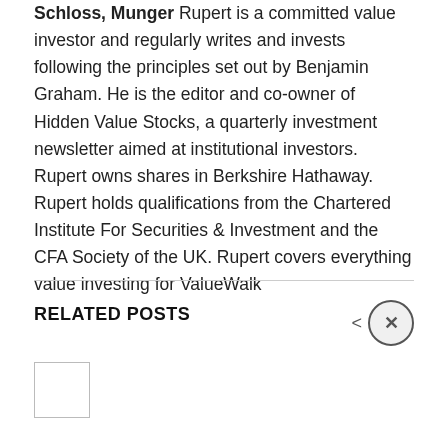Schloss, Munger Rupert is a committed value investor and regularly writes and invests following the principles set out by Benjamin Graham. He is the editor and co-owner of Hidden Value Stocks, a quarterly investment newsletter aimed at institutional investors. Rupert owns shares in Berkshire Hathaway. Rupert holds qualifications from the Chartered Institute For Securities & Investment and the CFA Society of the UK. Rupert covers everything value investing for ValueWalk
RELATED POSTS
[Figure (other): Thumbnail image placeholder for a related post]